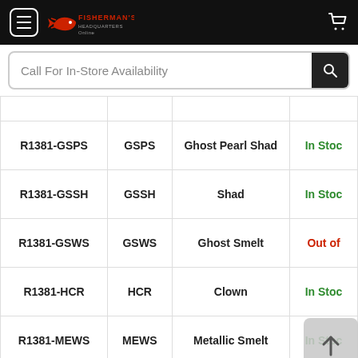Fisherman's Headquarters Online — Navigation and Search bar
| SKU | Code | Description | Availability |
| --- | --- | --- | --- |
| R1381-GSPS | GSPS | Ghost Pearl Shad | In Stock |
| R1381-GSSH | GSSH | Shad | In Stock |
| R1381-GSWS | GSWS | Ghost Smelt | Out of |
| R1381-HCR | HCR | Clown | In Stock |
| R1381-MEWS | MEWS | Metallic Smelt | In Stock |